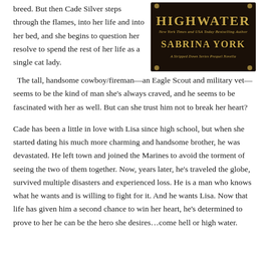breed. But then Cade Silver steps through the flames, into her life and into her bed, and she begins to question her resolve to spend the rest of her life as a single cat lady.  The tall, handsome cowboy/fireman—an Eagle Scout and military vet—seems to be the kind of man she's always craved, and he seems to be fascinated with her as well. But can she trust him not to break her heart?
[Figure (illustration): Book cover for 'Highwater' by Sabrina York, a New York Times and USA Today Bestselling Author. Dark brown/black background with gold decorative corner rivets. Text reads 'HIGHWATER' in large gold letters, 'New York Times and USA Today Bestselling Author' in smaller gold italic text, 'SABRINA YORK' in large gold letters, and 'A Stripped Down Series Prequel Novella' at the bottom in gold italic text.]
Cade has been a little in love with Lisa since high school, but when she started dating his much more charming and handsome brother, he was devastated. He left town and joined the Marines to avoid the torment of seeing the two of them together. Now, years later, he's traveled the globe, survived multiple disasters and experienced loss. He is a man who knows what he wants and is willing to fight for it. And he wants Lisa. Now that life has given him a second chance to win her heart, he's determined to prove to her he can be the hero she desires…come hell or high water.